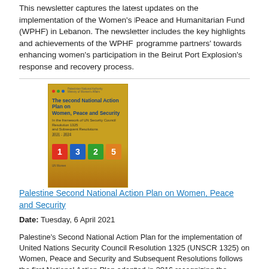This newsletter captures the latest updates on the implementation of the Women's Peace and Humanitarian Fund (WPHF) in Lebanon. The newsletter includes the key highlights and achievements of the WPHF programme partners' towards enhancing women's participation in the Beirut Port Explosion's response and recovery process.
[Figure (illustration): Cover of the Palestine Second National Action Plan on Women, Peace and Security document. Gold/yellow background with title text, numbered boxes showing 1, 3, 2, 5.]
Palestine Second National Action Plan on Women, Peace and Security
Date: Tuesday, 6 April 2021
Palestine's Second National Action Plan for the implementation of United Nations Security Council Resolution 1325 (UNSCR 1325) on Women, Peace and Security and Subsequent Resolutions follows the first National Action Plan adopted in 2016 recognizing the disproportionate impact of conflict and occupation on Palestinian women and girls and their vital participation in peacebuilding.